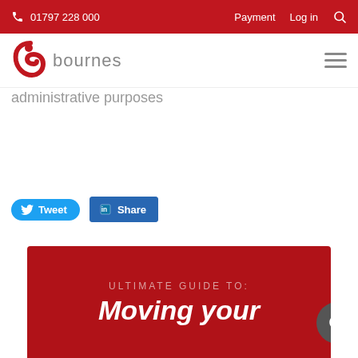01797 228 000   Payment   Log in
[Figure (logo): Bournes removals logo with red stylized 'b' icon and grey 'bournes' text]
administrative purposes
[Figure (infographic): Tweet button (blue rounded) and LinkedIn Share button (blue square)]
[Figure (infographic): Red banner with text 'ULTIMATE GUIDE TO:' and 'Moving your' in large bold white italic text]